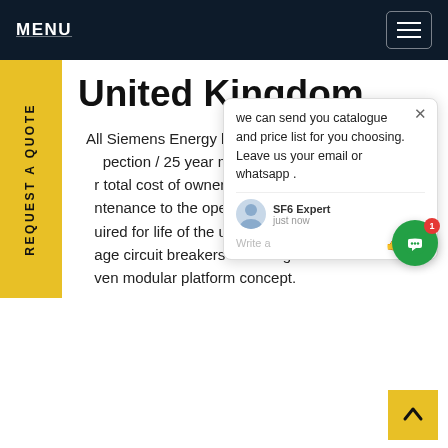MENU
United Kingdom
All Siemens Energy breakers have a 12 year inspection / 25 year maintenance cycle, minimizing total cost of ownership! No adjustments or maintenance to the operating mechanism are required for life of the unit. All Siemens Energy high voltage circuit breakers are designed based on a proven modular platform concept.
[Figure (screenshot): Chat popup widget showing message: 'we can send you catalogue and price list for you choosing. Leave us your email or whatsapp .' with SF6 Expert agent avatar and 'just now' timestamp, thumbs up and paperclip icons, and a close X button.]
[Figure (other): Green circular chat button with white chat icon and red badge showing '1']
[Figure (other): Yellow back-to-top arrow button in bottom right corner]